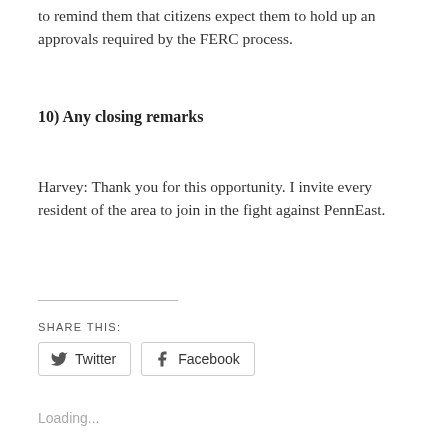to remind them that citizens expect them to hold up an approvals required by the FERC process.
10) Any closing remarks
Harvey: Thank you for this opportunity. I invite every resident of the area to join in the fight against PennEast.
SHARE THIS:
Twitter  Facebook
Loading...